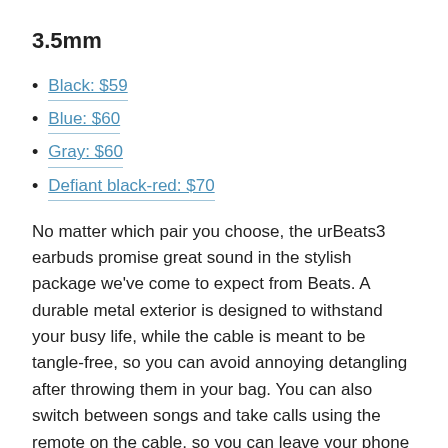3.5mm
Black: $59
Blue: $60
Gray: $60
Defiant black-red: $70
No matter which pair you choose, the urBeats3 earbuds promise great sound in the stylish package we've come to expect from Beats. A durable metal exterior is designed to withstand your busy life, while the cable is meant to be tangle-free, so you can avoid annoying detangling after throwing them in your bag. You can also switch between songs and take calls using the remote on the cable, so you can leave your phone in your pocket.